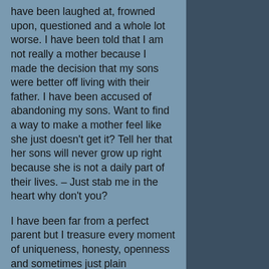have been laughed at, frowned upon, questioned and a whole lot worse.  I have been told that I am not really a mother because I made the decision that my sons were better off living with their father.  I have been accused of abandoning my sons.  Want to find a way to make a mother feel like she just doesn't get it?  Tell her that her sons will never grow up right because  she is not a daily part of their lives.  – Just stab me in the heart why don't you?
I have been far from a perfect parent but I treasure every moment of uniqueness, honesty, openness and sometimes just plain weirdness with my kids.  Best of all, I know they do too.
It took until they were older for my sons to express that they were mad at me for choices I had made.  For some of those choices their anger and disappointment was justifiable.   But throughout the